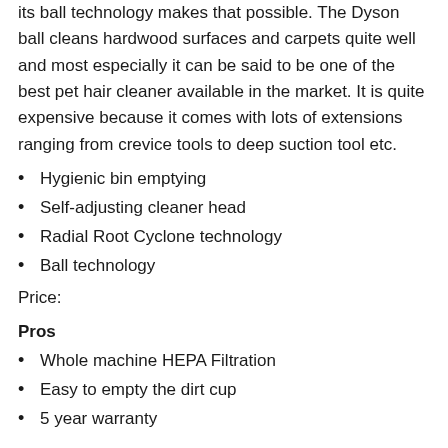its ball technology makes that possible. The Dyson ball cleans hardwood surfaces and carpets quite well and most especially it can be said to be one of the best pet hair cleaner available in the market. It is quite expensive because it comes with lots of extensions ranging from crevice tools to deep suction tool etc.
Hygienic bin emptying
Self-adjusting cleaner head
Radial Root Cyclone technology
Ball technology
Price:
Pros
Whole machine HEPA Filtration
Easy to empty the dirt cup
5 year warranty